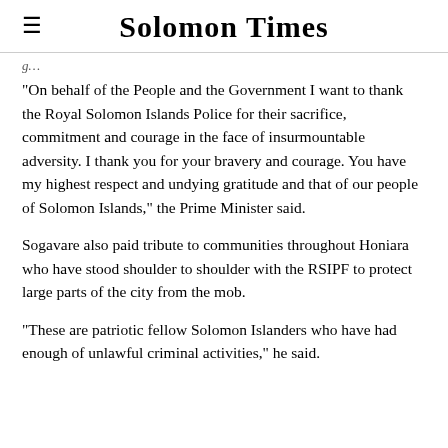Solomon Times
“On behalf of the People and the Government I want to thank the Royal Solomon Islands Police for their sacrifice, commitment and courage in the face of insurmountable adversity. I thank you for your bravery and courage. You have my highest respect and undying gratitude and that of our people of Solomon Islands,” the Prime Minister said.
Sogavare also paid tribute to communities throughout Honiara who have stood shoulder to shoulder with the RSIPF to protect large parts of the city from the mob.
“These are patriotic fellow Solomon Islanders who have had enough of unlawful criminal activities,” he said.